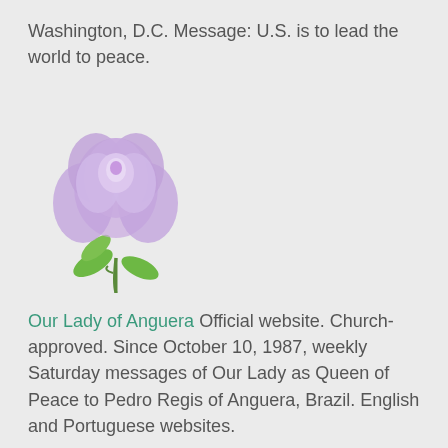Washington, D.C. Message: U.S. is to lead the world to peace.
[Figure (photo): A purple/lavender rose with green leaves and stem on a white background]
Our Lady of Anguera Official website. Church-approved. Since October 10, 1987, weekly Saturday messages of Our Lady as Queen of Peace to Pedro Regis of Anguera, Brazil. English and Portuguese websites.
[Figure (photo): A small thumbnail image of a woman (Our Lady of Emmitsburg figure)]
Our Lady of Emmitsburg Official website. Messages of Our Lady from November 1993 to October 2008. Includes Words of God the Father and Lessons